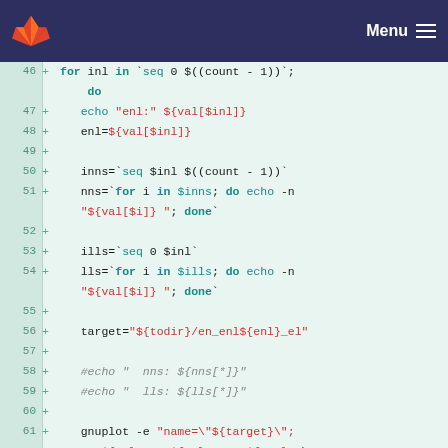[Figure (screenshot): GitLab navigation bar with logo and hamburger menu]
Code diff view showing shell script lines 46-61+, with syntax highlighting. Lines show a bash script using for loops, seq, echo, and gnuplot commands.